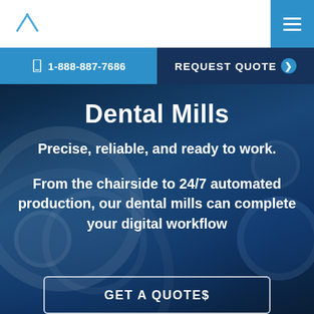1-888-887-7686 | REQUEST QUOTE
Dental Mills
Precise, reliable, and ready to work.
From the chairside to 24/7 automated production, our dental mills can complete your digital workflow
GET A QUOTE$